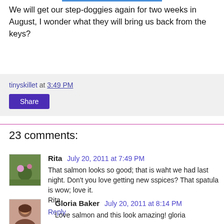We will get our step-doggies again for two weeks in August, I wonder what they will bring us back from the keys?
tinyskillet at 3:49 PM
Share
23 comments:
Rita July 20, 2011 at 7:49 PM
That salmon looks so good; that is waht we had last night. Don't you love getting new sspices? That spatula is wow; love it.
Rita
Reply
Gloria Baker July 20, 2011 at 8:14 PM
Love salmon and this look amazing! gloria